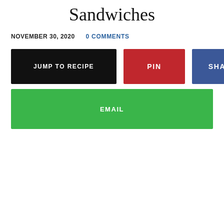Sandwiches
NOVEMBER 30, 2020   0 COMMENTS
JUMP TO RECIPE
PIN
SHARE
EMAIL